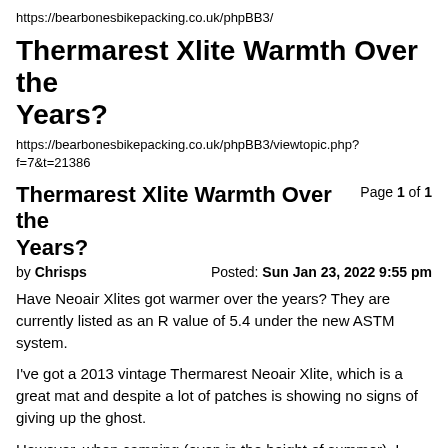https://bearbonesbikepacking.co.uk/phpBB3/
Thermarest Xlite Warmth Over the Years?
https://bearbonesbikepacking.co.uk/phpBB3/viewtopic.php?f=7&t=21386
Thermarest Xlite Warmth Over the Years?
Page 1 of 1
by Chrisps  Posted: Sun Jan 23, 2022 9:55 pm
Have Neoair Xlites got warmer over the years? They are currently listed as an R value of 5.4 under the new ASTM system.

I've got a 2013 vintage Thermarest Neoair Xlite, which is a great mat and despite a lot of patches is showing no signs of giving up the ghost.

However, when camping (even in the height of summer), I generally get quite cold at night (with an appropriately rated quilt) and often end up wearing a baselayer, fleece and down jacket in my quilt.